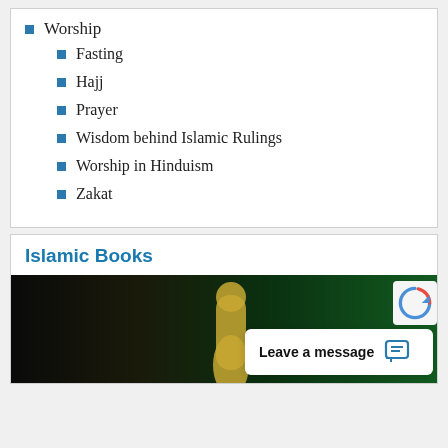Worship
Fasting
Hajj
Prayer
Wisdom behind Islamic Rulings
Worship in Hinduism
Zakat
Islamic Books
[Figure (photo): Dark background with green gradient and a hand/finger visible, partially shown. A chat widget overlay reads 'Leave a message' with a chat icon. A reCAPTCHA logo is visible in the upper right corner.]